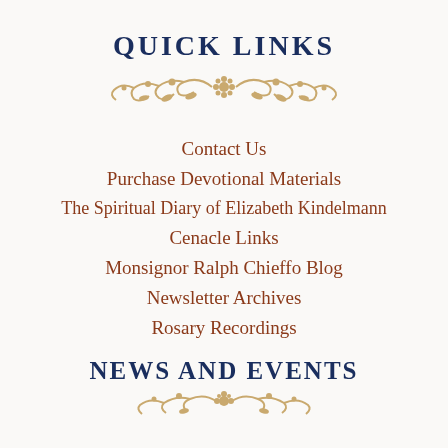QUICK LINKS
[Figure (illustration): Decorative floral/scroll ornament divider in tan/gold color]
Contact Us
Purchase Devotional Materials
The Spiritual Diary of Elizabeth Kindelmann
Cenacle Links
Monsignor Ralph Chieffo Blog
Newsletter Archives
Rosary Recordings
NEWS AND EVENTS
[Figure (illustration): Decorative floral/scroll ornament divider in tan/gold color (partial, cut off at bottom)]